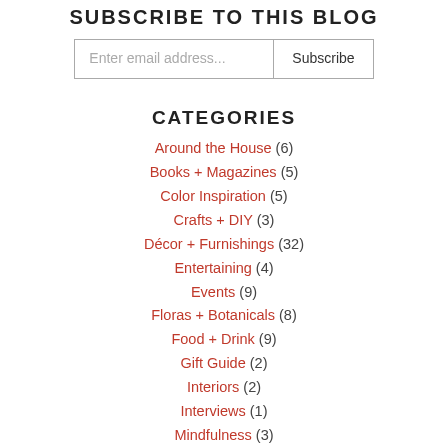SUBSCRIBE TO THIS BLOG
Enter email address... | Subscribe
CATEGORIES
Around the House (6)
Books + Magazines (5)
Color Inspiration (5)
Crafts + DIY (3)
Décor + Furnishings (32)
Entertaining (4)
Events (9)
Floras + Botanicals (8)
Food + Drink (9)
Gift Guide (2)
Interiors (2)
Interviews (1)
Mindfulness (3)
Nashville (34)
Paper Goods (2)
Pin Crush (3)